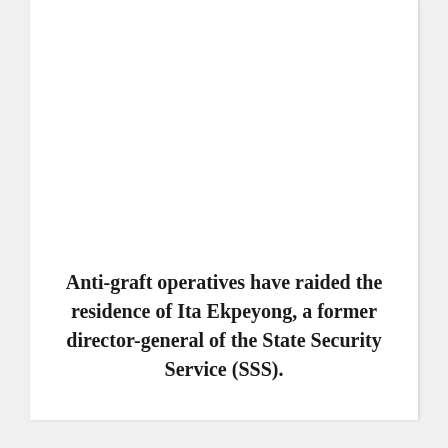Anti-graft operatives have raided the residence of Ita Ekpeyong, a former director-general of the State Security Service (SSS).